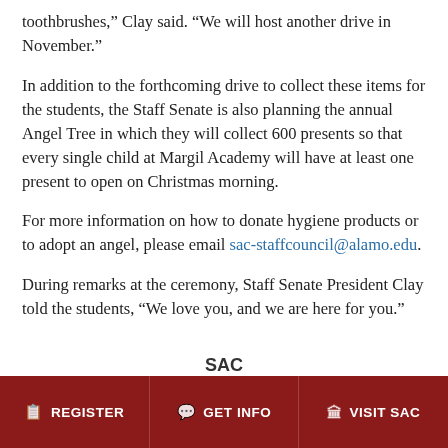toothbrushes,” Clay said. “We will host another drive in November.”
In addition to the forthcoming drive to collect these items for the students, the Staff Senate is also planning the annual Angel Tree in which they will collect 600 presents so that every single child at Margil Academy will have at least one present to open on Christmas morning.
For more information on how to donate hygiene products or to adopt an angel, please email sac-staffcouncil@alamo.edu.
During remarks at the ceremony, Staff Senate President Clay told the students, “We love you, and we are here for you.”
REGISTER | GET INFO | VISIT SAC